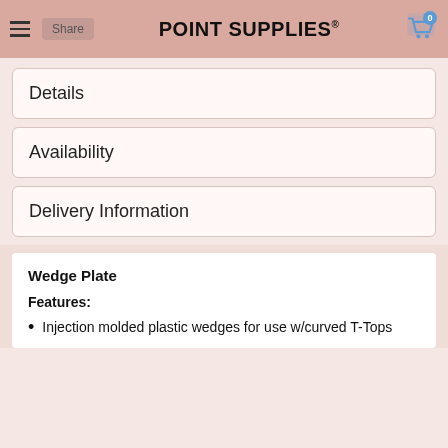POINT SUPPLIES®
Details
Availability
Delivery Information
Wedge Plate
Features:
Injection molded plastic wedges for use w/curved T-Tops